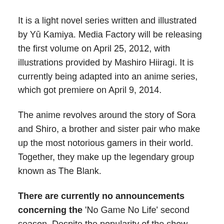It is a light novel series written and illustrated by Yū Kamiya. Media Factory will be releasing the first volume on April 25, 2012, with illustrations provided by Mashiro Hiiragi. It is currently being adapted into an anime series, which got premiere on April 9, 2014.
The anime revolves around the story of Sora and Shiro, a brother and sister pair who make up the most notorious gamers in their world. Together, they make up the legendary group known as The Blank.
There are currently no announcements concerning the 'No Game No Life' second season. Despite the popularity of the show
2. BLEACH ANIME